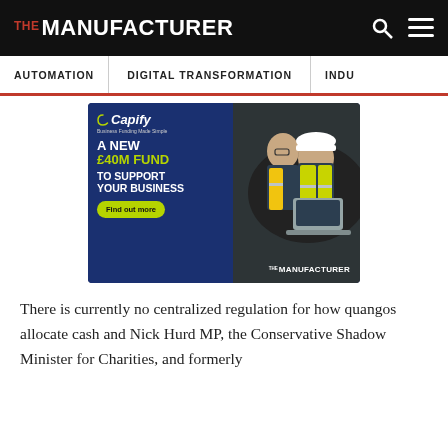THE MANUFACTURER
AUTOMATION | DIGITAL TRANSFORMATION | INDU
[Figure (illustration): Capify advertisement banner: 'A NEW £40M FUND TO SUPPORT YOUR BUSINESS' with two workers in hi-vis jackets using a laptop, Capify logo, Business Funding Made Simple tagline, Find out more button, The Manufacturer co-branding]
There is currently no centralized regulation for how quangos allocate cash and Nick Hurd MP, the Conservative Shadow Minister for Charities, and formerly